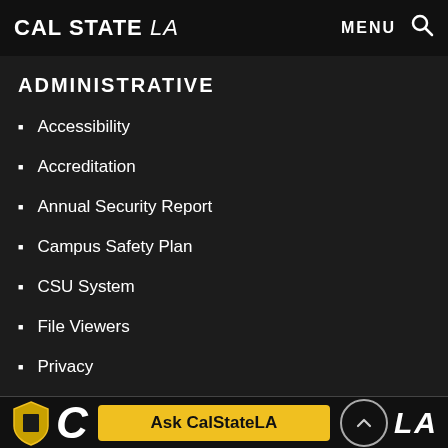CAL STATE LA | MENU 🔍
ADMINISTRATIVE
Accessibility
Accreditation
Annual Security Report
Campus Safety Plan
CSU System
File Viewers
Privacy
Ask CalStateLA